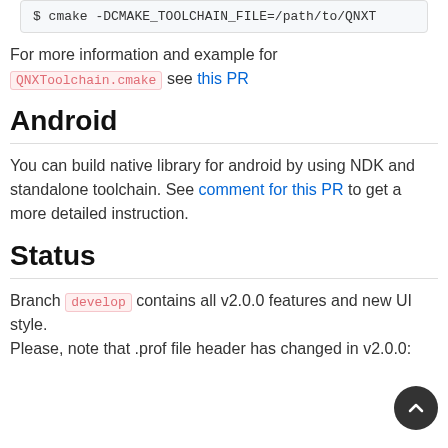$ cmake -DCMAKE_TOOLCHAIN_FILE=/path/to/QNXT
For more information and example for QNXToolchain.cmake see this PR
Android
You can build native library for android by using NDK and standalone toolchain. See comment for this PR to get a more detailed instruction.
Status
Branch develop contains all v2.0.0 features and new UI style.
Please, note that .prof file header has changed in v2.0.0: